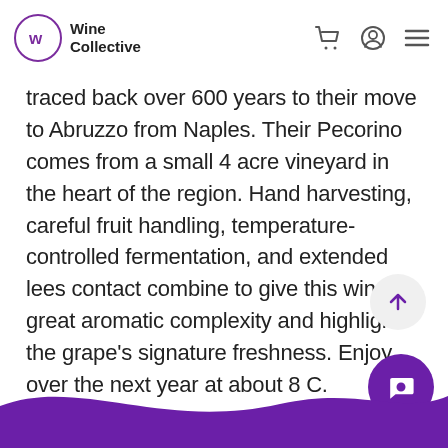Wine Collective
traced back over 600 years to their move to Abruzzo from Naples. Their Pecorino comes from a small 4 acre vineyard in the heart of the region. Hand harvesting, careful fruit handling, temperature-controlled fermentation, and extended lees contact combine to give this wine great aromatic complexity and highlight the grape's signature freshness. Enjoy over the next year at about 8 C.